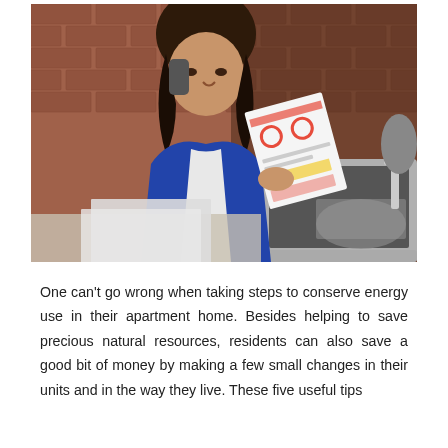[Figure (photo): A woman with dark curly hair talking on a phone while holding and reading papers/bills, seated at a kitchen counter with a laptop open, brick wall in background, kitchen faucet and appliances visible.]
One can't go wrong when taking steps to conserve energy use in their apartment home. Besides helping to save precious natural resources, residents can also save a good bit of money by making a few small changes in their units and in the way they live. These five useful tips